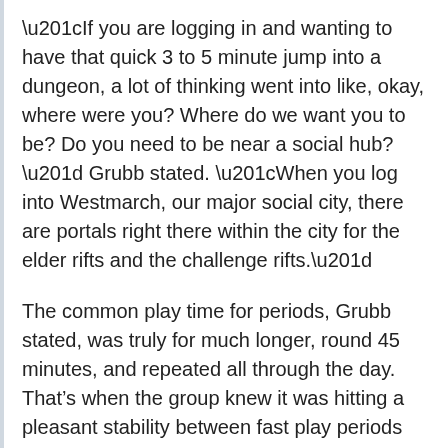“If you are logging in and wanting to have that quick 3 to 5 minute jump into a dungeon, a lot of thinking went into like, okay, where were you? Where do we want you to be? Do you need to be near a social hub?” Grubb stated. “When you log into Westmarch, our major social city, there are portals right there within the city for the elder rifts and the challenge rifts.”
The common play time for periods, Grubb stated, was truly for much longer, round 45 minutes, and repeated all through the day. That’s when the group knew it was hitting a pleasant stability between fast play periods and runs lengthy sufficient to justify parking in entrance of a PC.
The recreation can be basically a stay service